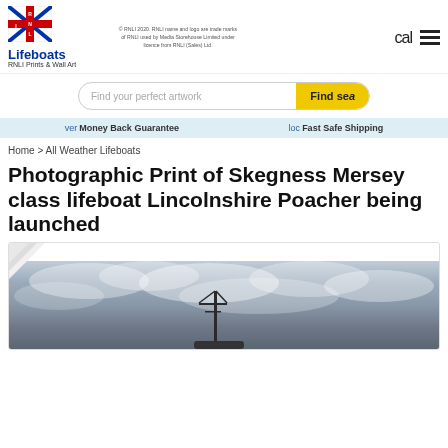[Figure (logo): RNLI Lifeboats logo with flag/crest and text 'Lifeboats RNLI Prints & Wall Art']
© RNLI 2020. RNLI name and logo are trade marks of RNLI used by Media Storehouse Limited under licence from RNLI (Sales) Ltd.
cal
Find your perfect artwork
Find sea
ver Money Back Guarantee
loc Fast Safe Shipping
Home > All Weather Lifeboats
Photographic Print of Skegness Mersey class lifeboat Lincolnshire Poacher being launched
[Figure (photo): Photograph of a lifeboat with mast/antenna visible against a dramatic cloudy sky, shown as a product print with curled corner effect]